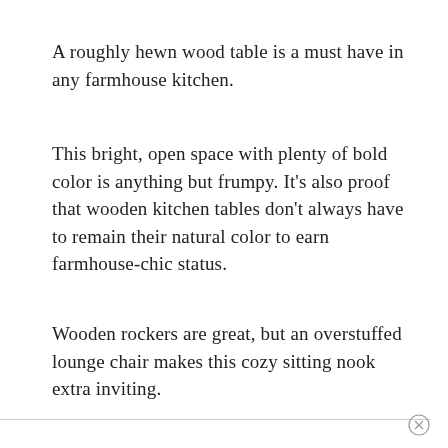A roughly hewn wood table is a must have in any farmhouse kitchen.
This bright, open space with plenty of bold color is anything but frumpy. It's also proof that wooden kitchen tables don't always have to remain their natural color to earn farmhouse-chic status.
Wooden rockers are great, but an overstuffed lounge chair makes this cozy sitting nook extra inviting.
⊗